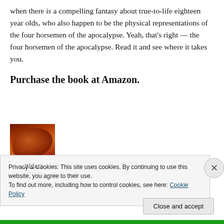when there is a compelling fantasy about true-to-life eighteen year olds, who also happen to be the physical representations of the four horsemen of the apocalypse. Yeah, that's right — the four horsemen of the apocalypse. Read it and see where it takes you.
Purchase the book at Amazon.
[Figure (photo): Book cover for 'Riders' — dark orange and red tones with a title in white italic text at the bottom.]
Privacy & Cookies: This site uses cookies. By continuing to use this website, you agree to their use.
To find out more, including how to control cookies, see here: Cookie Policy